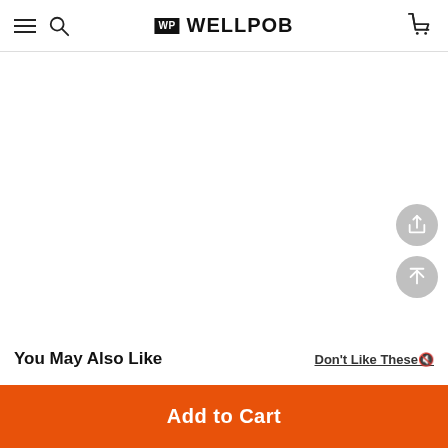WELLPOB
[Figure (screenshot): Blank white content area of a product page]
[Figure (other): Two circular floating action buttons on the right side: a share/upload icon button and an up-arrow/scroll-to-top button, both with gray background]
You May Also Like
Don't Like These🔇
Add to Cart